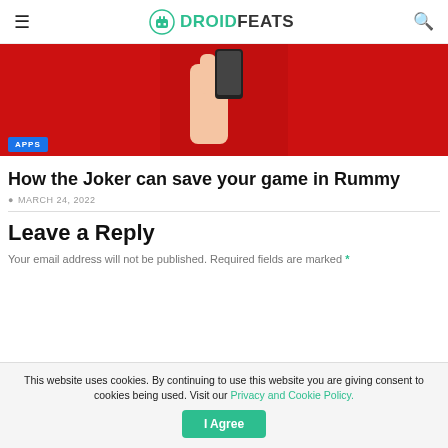DROIDFEATS
[Figure (photo): A hand holding a smartphone against a red background, with an APPS badge overlay]
How the Joker can save your game in Rummy
MARCH 24, 2022
Leave a Reply
Your email address will not be published. Required fields are marked *
This website uses cookies. By continuing to use this website you are giving consent to cookies being used. Visit our Privacy and Cookie Policy.